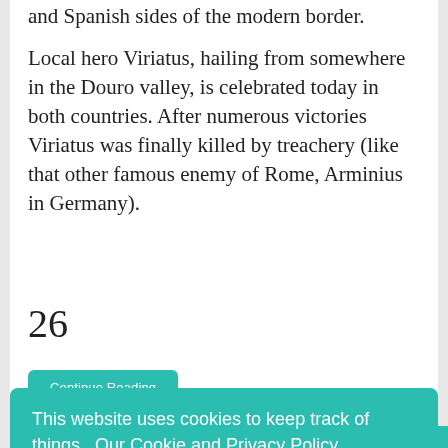and Spanish sides of the modern border.
Local hero Viriatus, hailing from somewhere in the Douro valley, is celebrated today in both countries. After numerous victories Viriatus was finally killed by treachery (like that other famous enemy of Rome, Arminius in Germany).
26
Continue Reading
This website uses cookies to keep track of things.  Our Cookie and Privacy Policy
Agree